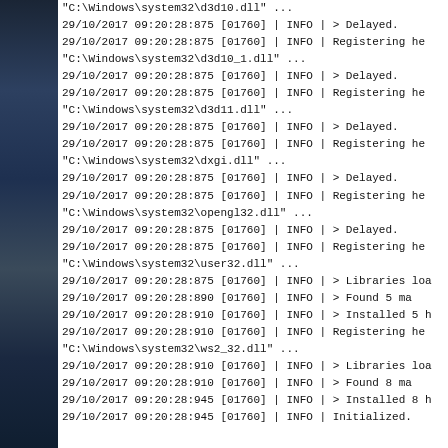[Figure (screenshot): Dark sidebar with city night background image on the left side of the page]
"C:\Windows\system32\d3d10.dll" ...
29/10/2017 09:20:28:875 [01760] | INFO | > Delayed.
29/10/2017 09:20:28:875 [01760] | INFO | Registering h... "C:\Windows\system32\d3d10_1.dll" ...
29/10/2017 09:20:28:875 [01760] | INFO | > Delayed.
29/10/2017 09:20:28:875 [01760] | INFO | Registering h... "C:\Windows\system32\d3d11.dll" ...
29/10/2017 09:20:28:875 [01760] | INFO | > Delayed.
29/10/2017 09:20:28:875 [01760] | INFO | Registering h... "C:\Windows\system32\dxgi.dll" ...
29/10/2017 09:20:28:875 [01760] | INFO | > Delayed.
29/10/2017 09:20:28:875 [01760] | INFO | Registering h... "C:\Windows\system32\opengl32.dll" ...
29/10/2017 09:20:28:875 [01760] | INFO | > Delayed.
29/10/2017 09:20:28:875 [01760] | INFO | Registering h... "C:\Windows\system32\user32.dll" ...
29/10/2017 09:20:28:875 [01760] | INFO | > Libraries loa...
29/10/2017 09:20:28:890 [01760] | INFO | > Found 5 ma...
29/10/2017 09:20:28:910 [01760] | INFO | > Installed 5 h...
29/10/2017 09:20:28:910 [01760] | INFO | Registering h... "C:\Windows\system32\ws2_32.dll" ...
29/10/2017 09:20:28:910 [01760] | INFO | > Libraries loa...
29/10/2017 09:20:28:910 [01760] | INFO | > Found 8 ma...
29/10/2017 09:20:28:945 [01760] | INFO | > Installed 8 h...
29/10/2017 09:20:28:945 [01760] | INFO | Initialized.